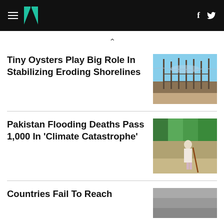HuffPost navigation header with hamburger menu, logo, Facebook and Twitter icons
Tiny Oysters Play Big Role In Stabilizing Eroding Shorelines
[Figure (photo): Coastal shoreline with wooden stakes/fencing and water in background]
Pakistan Flooding Deaths Pass 1,000 In 'Climate Catastrophe'
[Figure (photo): Elderly man with white beard and walking stick wading through flood water]
Countries Fail To Reach
[Figure (photo): Partial image, grey tones]